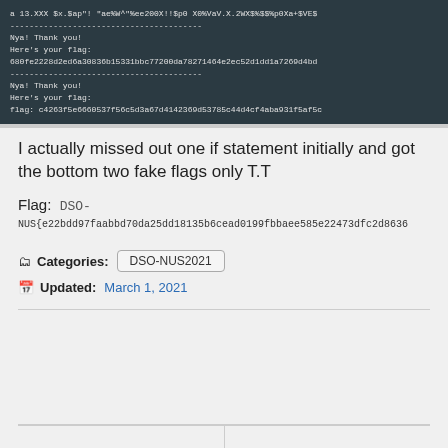[Figure (screenshot): Terminal/console output showing dashed separator lines, 'Nya! Thank you!' messages, 'Here's your flag:' prompts, a hex flag value '680fe2228d2ed6a30836b15331bbc77200da78271464e2ec52d1dd1a7269d4bd', another separator, another 'Nya! Thank you!' and 'Here's your flag:', and a flag line starting with 'flag: c4263f5e6660537f56c5d3a67d4142369d53785c44d4cf4aba931f5af5c']
I actually missed out one if statement initially and got the bottom two fake flags only T.T
Flag: DSO-NUS{e22bdd97faabbd70da25dd18135b6cead0199fbbaee585e22473dfc2d8636...
Categories: DSO-NUS2021
Updated: March 1, 2021